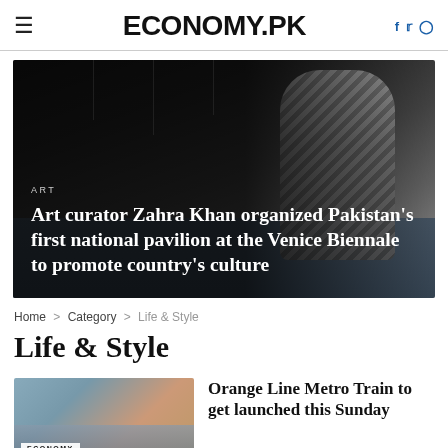ECONOMY.PK
[Figure (photo): Dark art installation photo with a woman in striped top arranging objects on a table, with suspended items above. Overlaid text: ART category label and headline about Art curator Zahra Khan organizing Pakistan's first national pavilion at the Venice Biennale.]
ART
Art curator Zahra Khan organized Pakistan’s first national pavilion at the Venice Biennale to promote country’s culture
Home > Category > Life & Style
Life & Style
[Figure (photo): Thumbnail image of a city scene with ECONOMY label badge.]
Orange Line Metro Train to get launched this Sunday